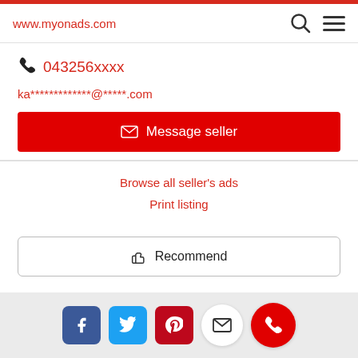www.myonads.com
043256xxxx
ka*************@*****.com
Message seller
Browse all seller's ads
Print listing
Recommend
Social share icons: Facebook, Twitter, Pinterest, Mail, Phone